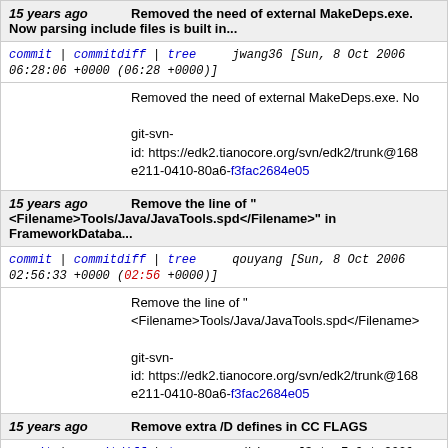15 years ago   Removed the need of external MakeDeps.exe. Now parsing include files is built in...
commit | commitdiff | tree   jwang36 [Sun, 8 Oct 2006 06:28:06 +0000 (06:28 +0000)]
Removed the need of external MakeDeps.exe. No
git-svn-id: https://edk2.tianocore.org/svn/edk2/trunk@168 e211-0410-80a6-f3fac2684e05
15 years ago   Remove the line of "<Filename>Tools/Java/JavaTools.spd</Filename>" in FrameworkDataba...
commit | commitdiff | tree   qouyang [Sun, 8 Oct 2006 02:56:33 +0000 (02:56 +0000)]
Remove the line of "<Filename>Tools/Java/JavaTools.spd</Filename>
git-svn-id: https://edk2.tianocore.org/svn/edk2/trunk@168 e211-0410-80a6-f3fac2684e05
15 years ago   Remove extra /D defines in CC FLAGS
commit | commitdiff | tree   mdkinney [Sat, 7 Oct 2006 00:28:16 +0000 (00:28 +0000)]